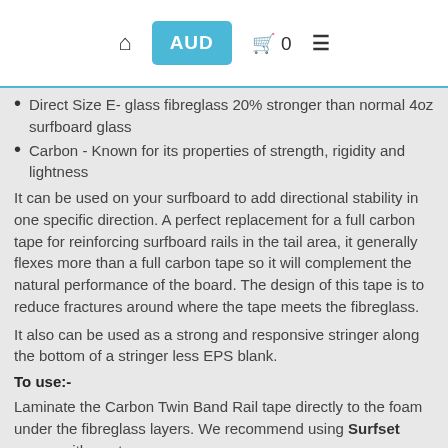AUD  0
Direct Size E- glass fibreglass 20% stronger than normal 4oz surfboard glass
Carbon - Known for its properties of strength, rigidity and lightness
It can be used on your surfboard to add directional stability in one specific direction. A perfect replacement for a full carbon tape for reinforcing surfboard rails in the tail area, it generally flexes more than a full carbon tape so it will complement the natural performance of the board. The design of this tape is to reduce fractures around where the tape meets the fibreglass.
It also can be used as a strong and responsive stringer along the bottom of a stringer less EPS blank.
To use:-
Laminate the Carbon Twin Band Rail tape directly to the foam under the fibreglass layers. We recommend using Surfset epoxy with our tapes
Try some Carbon Twin Band Rail Tape on your next board and